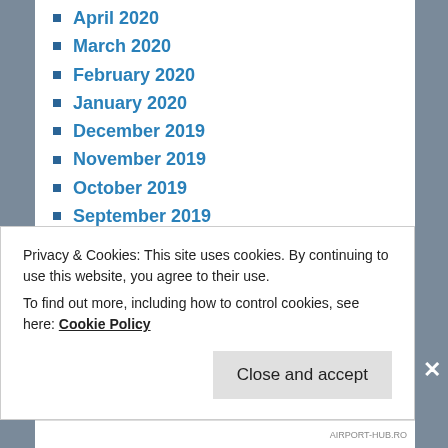April 2020
March 2020
February 2020
January 2020
December 2019
November 2019
October 2019
September 2019
August 2019
July 2019
June 2019
May 2019
April 2019
March 2019
February 2019
Privacy & Cookies: This site uses cookies. By continuing to use this website, you agree to their use.
To find out more, including how to control cookies, see here: Cookie Policy
AIRPORT-HUB.RO